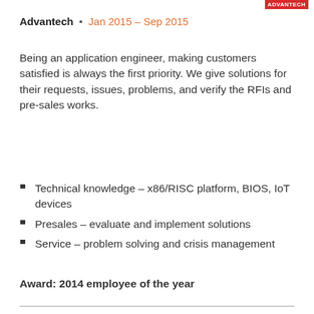[Figure (logo): Advantech company logo, red background with white text]
Advantech • Jan 2015 – Sep 2015
Being an application engineer, making customers satisfied is always the first priority. We give solutions for their requests, issues, problems, and verify the RFIs and pre-sales works.
Technical knowledge – x86/RISC platform, BIOS, IoT devices
Presales – evaluate and implement solutions
Service – problem solving and crisis management
Award: 2014 employee of the year